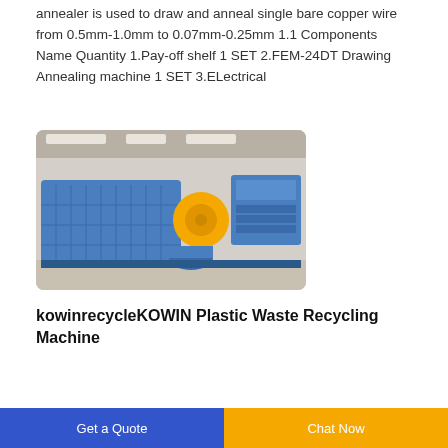annealer is used to draw and anneal single bare copper wire from 0.5mm-1.0mm to 0.07mm-0.25mm 1.1 Components Name Quantity 1.Pay-off shelf 1 SET 2.FEM-24DT Drawing Annealing machine 1 SET 3.ELectrical
[Figure (photo): Industrial blue machine (drawing/annealing or recycling equipment) with yellow components, sitting on a factory floor with fluorescent lighting.]
kowinrecycleKOWIN Plastic Waste Recycling Machine
Get a Quote | Chat Now